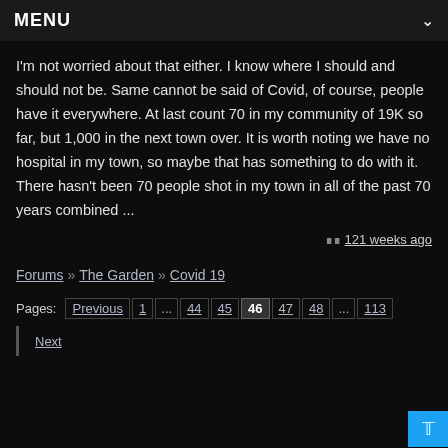MENU
I'm not worried about that either. I know where I should and should not be. Same cannot be said of Covid, of course, people have it everywhere. At last count 70 in my community of 19K so far, but 1,000 in the next town over. It is worth noting we have no hospital in my town, so maybe that has something to do with it. There hasn't been 70 people shot in my town in all of the past 70 years combined ...
121 weeks ago
Forums » The Garden » Covid 19
Pages: Previous | 1 | ... | 44 | 45 | 46 | 47 | 48 | ... | 113
Next